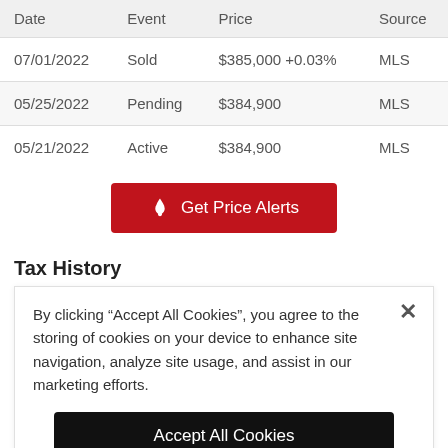| Date | Event | Price | Source |
| --- | --- | --- | --- |
| 07/01/2022 | Sold | $385,000 +0.03% | MLS |
| 05/25/2022 | Pending | $384,900 | MLS |
| 05/21/2022 | Active | $384,900 | MLS |
[Figure (other): Red button labeled 'Get Price Alerts' with a flame icon]
Tax History
By clicking “Accept All Cookies”, you agree to the storing of cookies on your device to enhance site navigation, analyze site usage, and assist in our marketing efforts.
[Figure (other): Black button labeled 'Accept All Cookies']